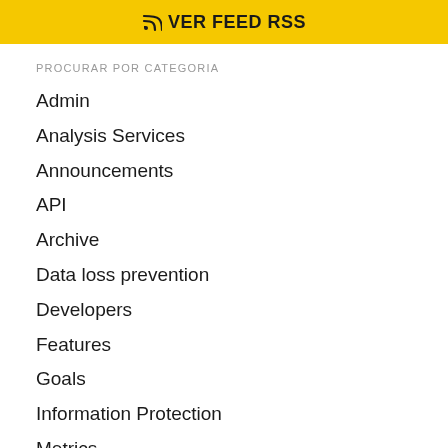VER FEED RSS
PROCURAR POR CATEGORIA
Admin
Analysis Services
Announcements
API
Archive
Data loss prevention
Developers
Features
Goals
Information Protection
Metrics